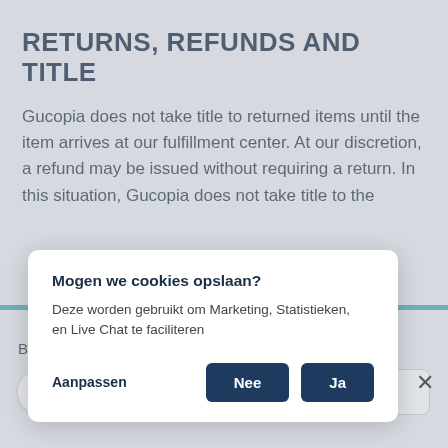RETURNS, REFUNDS AND TITLE
Gucopia does not take title to returned items until the item arrives at our fulfillment center. At our discretion, a refund may be issued without requiring a return. In this situation, Gucopia does not take title to the r
[Figure (screenshot): Cookie consent modal dialog with title 'Mogen we cookies opslaan?', body text 'Deze worden gebruikt om Marketing, Statistieken, en Live Chat te faciliteren', and buttons 'Aanpassen', 'Nee', 'Ja' with an X close button]
Bonjour, comment puis-je vous aider ?
Antwoorden aan Laura